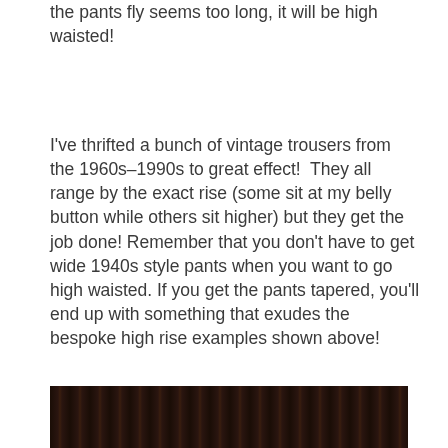the pants fly seems too long, it will be high waisted!
I've thrifted a bunch of vintage trousers from the 1960s–1990s to great effect!  They all range by the exact rise (some sit at my belly button while others sit higher) but they get the job done! Remember that you don't have to get wide 1940s style pants when you want to go high waisted. If you get the pants tapered, you'll end up with something that exudes the bespoke high rise examples shown above!
[Figure (photo): Partial view of what appears to be books or dark vertical objects, bottom of page]